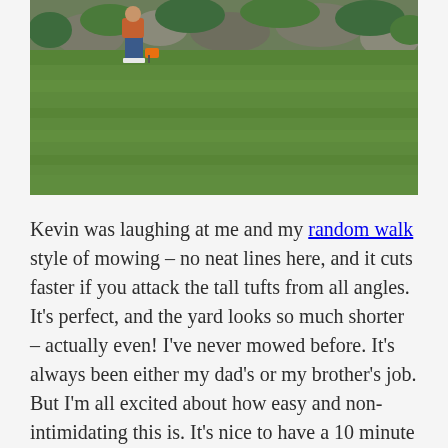[Figure (photo): Outdoor photo of a green lawn with a person mowing in the upper left area, rocks and shrubs in the background.]
Kevin was laughing at me and my random walk style of mowing – no neat lines here, and it cuts faster if you attack the tall tufts from all angles. It's perfect, and the yard looks so much shorter – actually even! I've never mowed before. It's always been either my dad's or my brother's job. But I'm all excited about how easy and non-intimidating this is. It's nice to have a 10 minute task outside when you get home from work (especially with daylight